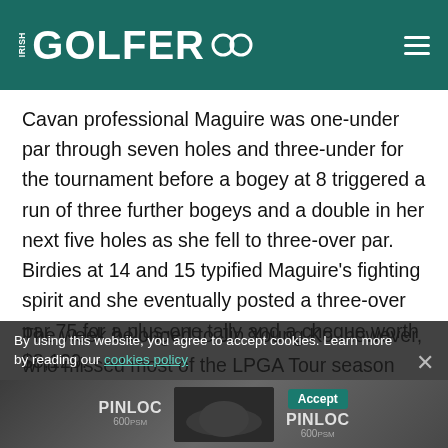IRISH GOLFER
Cavan professional Maguire was one-under par through seven holes and three-under for the tournament before a bogey at 8 triggered a run of three further bogeys and a double in her next five holes as she fell to three-over par. Birdies at 14 and 15 typified Maguire's fighting spirit and she eventually posted a three-over par 75 for a plus-one tally and a cheque worth $8,129.
The week belonged to Jin Young Ko, however, who missed most of the LPGA Tour season and still won the yearlong money title. That's what a $1.1 million check does. Ko fired a brilliant six-under par 66 to race clear by five strokes over Hannah Green and Sei Young Kim.
By using this website, you agree to accept cookies. Learn more by reading our cookies policy
[Figure (other): PINLOC 600PSM advertisement banner at the bottom of the page with Accept button]